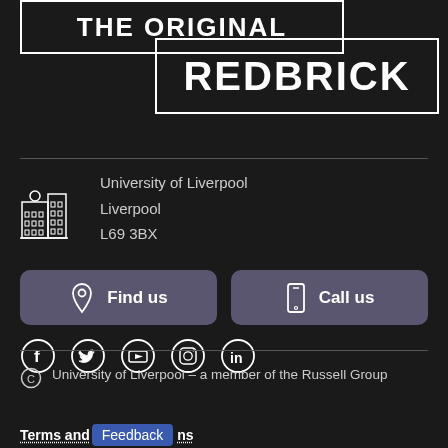[Figure (logo): The Original Redbrick logo — two overlapping white-bordered rectangles on dark background, text 'THE ORIGINAL' and 'REDBRICK' in bold white capitals]
University of Liverpool
Liverpool
L69 3BX
Find us
Call us
[Figure (infographic): Social media icons: Facebook, Twitter, YouTube, Instagram, LinkedIn — white circle outlines on dark background]
© University of Liverpool – a member of the Russell Group
Terms and Feedback Conditions